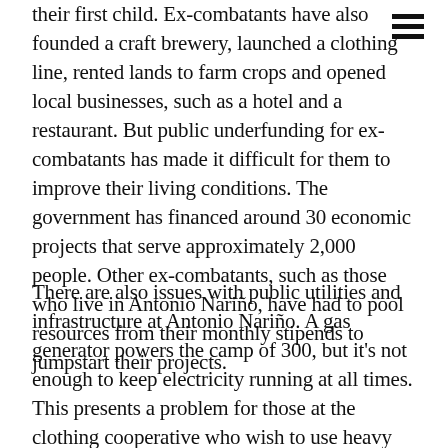their first child. Ex-combatants have also founded a craft brewery, launched a clothing line, rented lands to farm crops and opened local businesses, such as a hotel and a restaurant. But public underfunding for ex-combatants has made it difficult for them to improve their living conditions. The government has financed around 30 economic projects that serve approximately 2,000 people. Other ex-combatants, such as those who live in Antonio Nariño, have had to pool resources from their monthly stipends to jumpstart their projects.
There are also issues with public utilities and infrastructure at Antonio Nariño. A gas generator powers the camp of 300, but it's not enough to keep electricity running at all times. This presents a problem for those at the clothing cooperative who wish to use heavy machinery to expand their production. Meanwhile, water is scant, particularly as the dry season settles in, and the sewage system is in desperate need of repair.